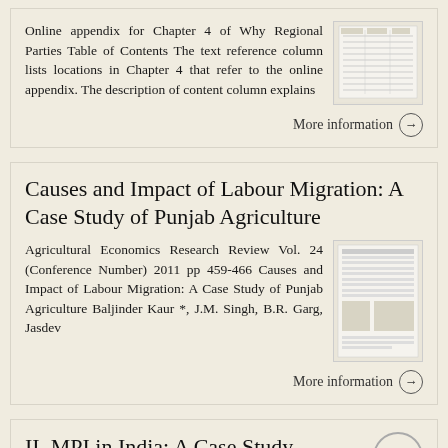Online appendix for Chapter 4 of Why Regional Parties Table of Contents The text reference column lists locations in Chapter 4 that refer to the online appendix. The description of content column explains
[Figure (screenshot): Thumbnail of a document page with table of contents]
More information →
Causes and Impact of Labour Migration: A Case Study of Punjab Agriculture
Agricultural Economics Research Review Vol. 24 (Conference Number) 2011 pp 459-466 Causes and Impact of Labour Migration: A Case Study of Punjab Agriculture Baljinder Kaur *, J.M. Singh, B.R. Garg, Jasdev
[Figure (screenshot): Thumbnail of the journal article page]
More information →
II. MPI in India: A Case Study
https://ophi.org.uk/multidimensional...